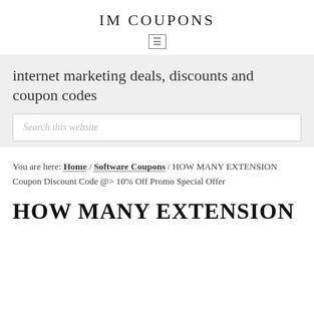IM COUPONS
internet marketing deals, discounts and coupon codes
Search this website
You are here: Home / Software Coupons / HOW MANY EXTENSION Coupon Discount Code @> 10% Off Promo Special Offer
HOW MANY EXTENSION